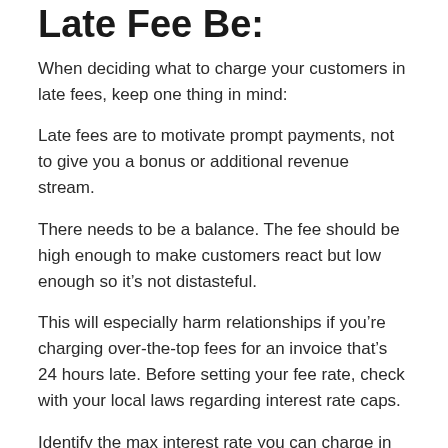Late Fee Be:
When deciding what to charge your customers in late fees, keep one thing in mind:
Late fees are to motivate prompt payments, not to give you a bonus or additional revenue stream.
There needs to be a balance. The fee should be high enough to make customers react but low enough so it’s not distasteful.
This will especially harm relationships if you’re charging over-the-top fees for an invoice that’s 24 hours late. Before setting your fee rate, check with your local laws regarding interest rate caps.
Identify the max interest rate you can charge in your area. For example, some places allow up to 18% annually. This